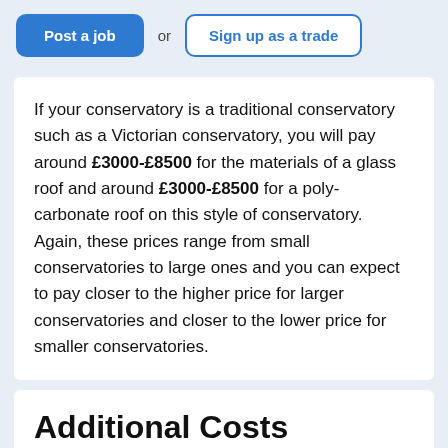Post a job  or  Sign up as a trade
If your conservatory is a traditional conservatory such as a Victorian conservatory, you will pay around £3000-£8500 for the materials of a glass roof and around £3000-£8500 for a poly-carbonate roof on this style of conservatory. Again, these prices range from small conservatories to large ones and you can expect to pay closer to the higher price for larger conservatories and closer to the lower price for smaller conservatories.
Additional Costs